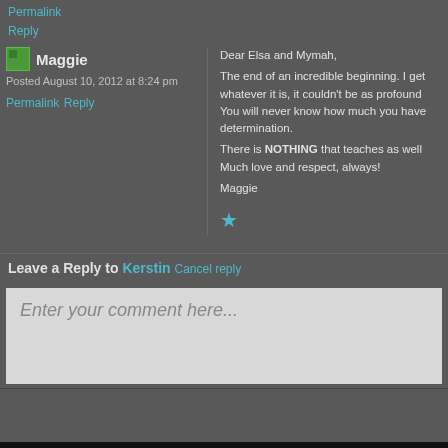Permalink
Reply
Maggie
Posted August 10, 2012 at 8:24 pm
Permalink
Reply
Dear Elsa and Mymah,
The end of an incredible beginning. I get whatever it is, it couldn't be as profound You will never know how much you have determination.
There is NOTHING that teaches as well Much love and respect, always!
Maggie
★
Leave a Reply to Kerstin Cancel reply
Enter your comment here...